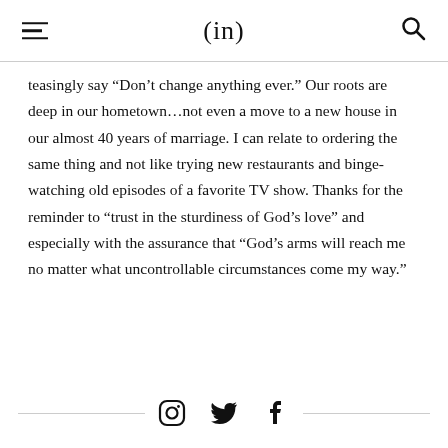(in)
teasingly say “Don’t change anything ever.” Our roots are deep in our hometown…not even a move to a new house in our almost 40 years of marriage. I can relate to ordering the same thing and not like trying new restaurants and binge-watching old episodes of a favorite TV show. Thanks for the reminder to “trust in the sturdiness of God’s love” and especially with the assurance that “God’s arms will reach me no matter what uncontrollable circumstances come my way.”
Instagram Twitter Facebook social icons